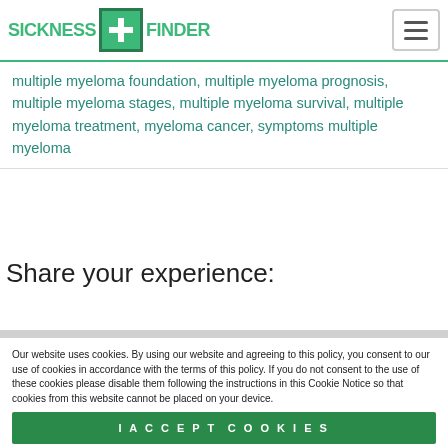SICKNESS FINDER
multiple myeloma foundation, multiple myeloma prognosis, multiple myeloma stages, multiple myeloma survival, multiple myeloma treatment, myeloma cancer, symptoms multiple myeloma
Share your experience:
Our website uses cookies. By using our website and agreeing to this policy, you consent to our use of cookies in accordance with the terms of this policy. If you do not consent to the use of these cookies please disable them following the instructions in this Cookie Notice so that cookies from this website cannot be placed on your device.
I ACCEPT COOKIES